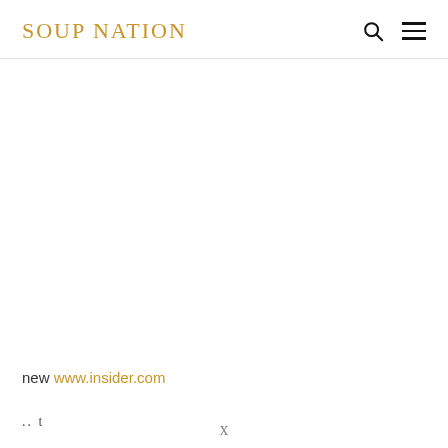SOUP NATION
new www.insider.com
.. t
x